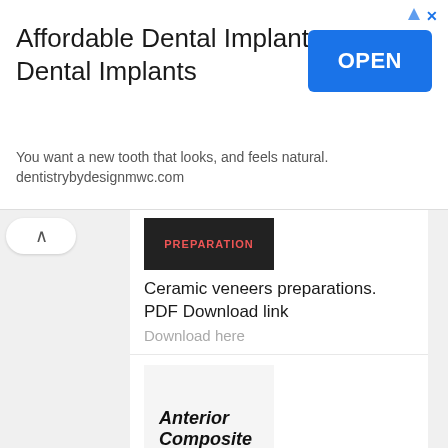[Figure (screenshot): Advertisement banner: Affordable Dental Implants - Dental Implants. OPEN button in blue. Text: You want a new tooth that looks, and feels natural. dentistrybydesignmwc.com]
[Figure (screenshot): Navigation back/up chevron button]
[Figure (illustration): PREPARATION label image thumbnail]
Ceramic veneers preparations. PDF Download link
Download here
[Figure (illustration): Anterior Composite book/document cover thumbnail with bold italic text]
Anterior composite.. PDF file download
Download
[Figure (illustration): Endocrown document cover with metallic/grey texture and ENDOCROWN red text label]
Endocrown from virtuality to reality